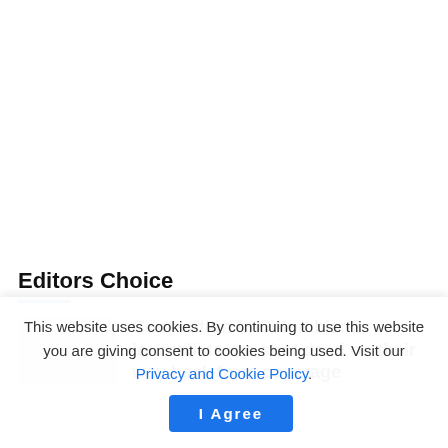Editors Choice
Commotion in Colombia: 2 journalists are shot dead on their way back from coverage
This website uses cookies. By continuing to use this website you are giving consent to cookies being used. Visit our Privacy and Cookie Policy.